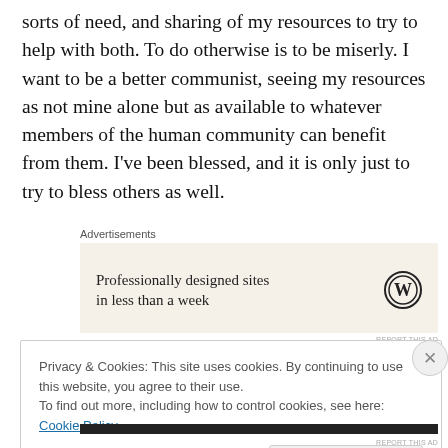sorts of need, and sharing of my resources to try to help with both. To do otherwise is to be miserly. I want to be a better communist, seeing my resources as not mine alone but as available to whatever members of the human community can benefit from them. I've been blessed, and it is only just to try to bless others as well.
[Figure (other): Advertisement box with text 'Professionally designed sites in less than a week' and WordPress logo on beige background. Labeled 'Advertisements' above.]
Privacy & Cookies: This site uses cookies. By continuing to use this website, you agree to their use. To find out more, including how to control cookies, see here: Cookie Policy
Close and accept